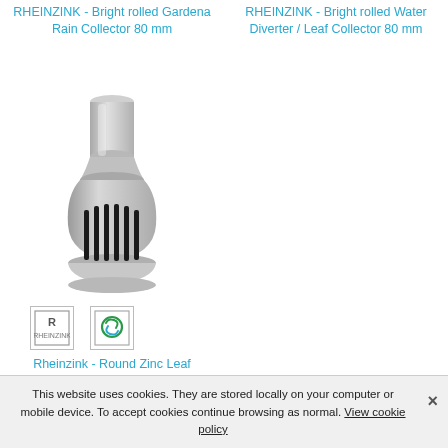RHEINZINK - Bright rolled Gardena Rain Collector 80 mm
RHEINZINK - Bright rolled Water Diverter / Leaf Collector 80 mm
[Figure (photo): A zinc/aluminium round leaf collector 80mm product photo showing a cylindrical pipe top section connected to a round leaf filter/strainer bowl with vertical black filter tines/fingers, shown at slight angle on white background]
[Figure (logo): RHEINZINK logo square badge with stylized R-Z monogram, grey border]
[Figure (logo): Green circular recycling/sustainability logo badge]
Rheinzink - Round Zinc Leaf Collector 80mm
This website uses cookies. They are stored locally on your computer or mobile device. To accept cookies continue browsing as normal. View cookie policy